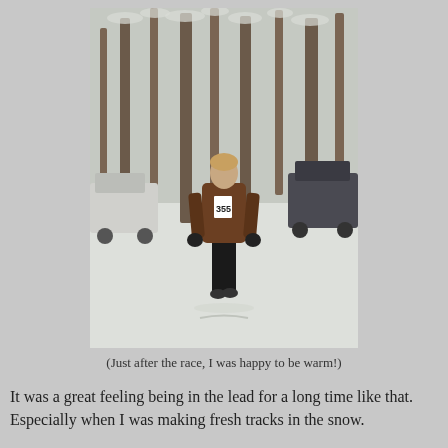[Figure (photo): A person wearing a brown jacket with a race bib number 355 walking through a snowy parking lot or field with bare trees covered in snow in the background. Cars are visible on either side.]
(Just after the race, I was happy to be warm!)
It was a great feeling being in the lead for a long time like that. Especially when I was making fresh tracks in the snow.